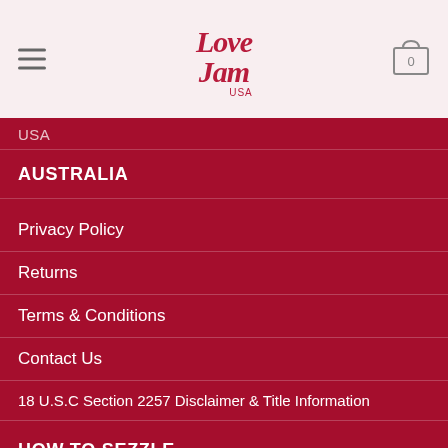[Figure (logo): Love Jam USA script logo in dark red/crimson on light pink background]
USA
AUSTRALIA
Privacy Policy
Returns
Terms & Conditions
Contact Us
18 U.S.C Section 2257 Disclaimer & Title Information
HOW TO SEZZLE
Shipping Information